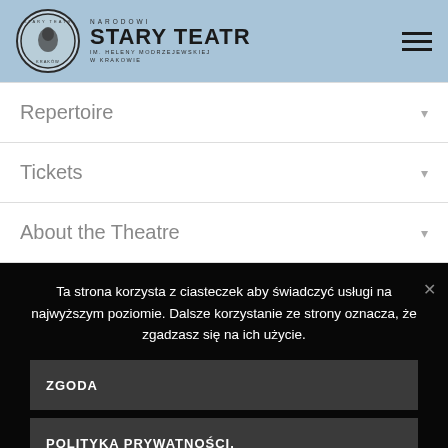[Figure (logo): Stary Teatr Kraków logo with circular emblem and text 'NARODOWI STARY TEATR im. Heleny Modrzejewskiej w Krakowie']
Repertoire
Tickets
About the Theatre
Ta strona korzysta z ciasteczek aby świadczyć usługi na najwyższym poziomie. Dalsze korzystanie ze strony oznacza, że zgadzasz się na ich użycie.
ZGODA
POLITYKA PRYWATNOŚCI.